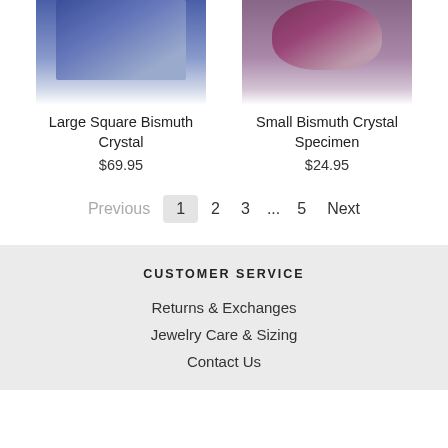[Figure (photo): Top portion of a Large Square Bismuth Crystal product photo with blue/metallic coloring]
[Figure (photo): Top portion of a Small Bismuth Crystal Specimen product photo with purple/red coloring]
Large Square Bismuth Crystal
$69.95
Small Bismuth Crystal Specimen
$24.95
Previous  1  2  3  ...  5  Next
CUSTOMER SERVICE
Returns & Exchanges
Jewelry Care & Sizing
Contact Us